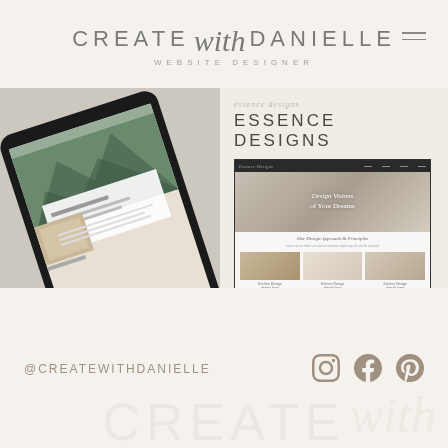[Figure (logo): CREATE with DANIELLE logo with WEBSITE DESIGNER subtitle and hamburger menu icon]
[Figure (photo): Tablet mockup showing a wedding photography website displayed on an iPad at an angle]
[Figure (screenshot): Website mockup for ESSENCE DESIGNS showing a kitchen design website with hero image and grid of kitchen photos]
@CREATEWITHDANIELLE
[Figure (illustration): Social media icons: Instagram, Facebook, Pinterest in taupe/brown color]
CREATE